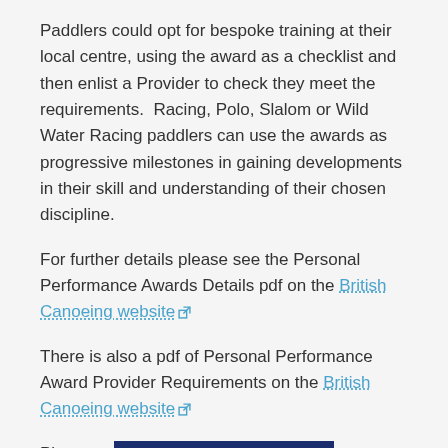Paddlers could opt for bespoke training at their local centre, using the award as a checklist and then enlist a Provider to check they meet the requirements.  Racing, Polo, Slalom or Wild Water Racing paddlers can use the awards as progressive milestones in gaining developments in their skill and understanding of their chosen discipline.
For further details please see the Personal Performance Awards Details pdf on the British Canoeing website
There is also a pdf of Personal Performance Award Provider Requirements on the British Canoeing website
Please contact the CANI Office at office@cani.org.uk to find out how to get involved or to find out how arrange a Personal Performance Award course for your students.